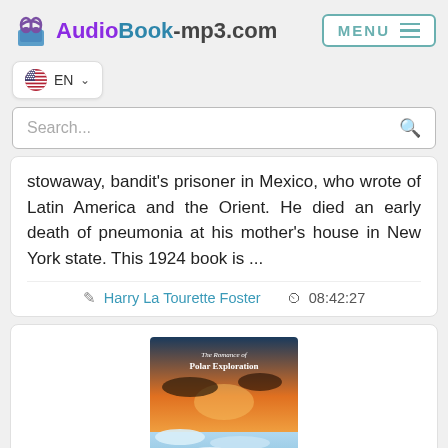AudioBook-mp3.com  MENU
EN
Search...
stowaway, bandit's prisoner in Mexico, who wrote of Latin America and the Orient. He died an early death of pneumonia at his mother's house in New York state. This 1924 book is ...
Harry La Tourette Foster   08:42:27
[Figure (photo): Book cover image for 'The Romance of Polar Exploration' by G. Firth Scott, showing an icy landscape with dramatic orange and blue sky.]